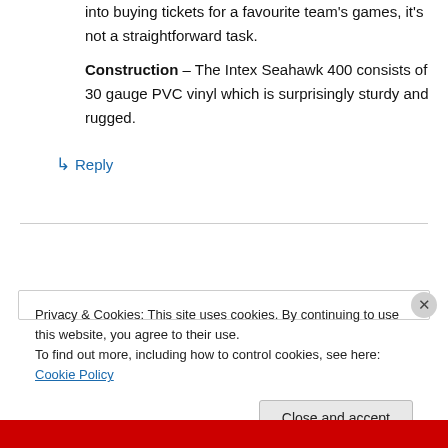into buying tickets for a favourite team's games, it's not a straightforward task.
Construction – The Intex Seahawk 400 consists of 30 gauge PVC vinyl which is surprisingly sturdy and rugged.
↳ Reply
Privacy & Cookies: This site uses cookies. By continuing to use this website, you agree to their use.
To find out more, including how to control cookies, see here: Cookie Policy
Close and accept